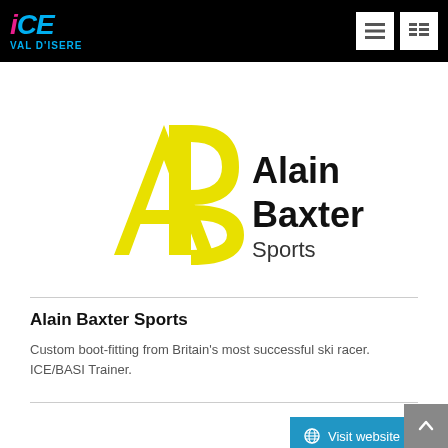ICE VAL D'ISERE
[Figure (logo): Alain Baxter Sports logo — large yellow 'AB' letterform with black text 'Alain Baxter Sports']
Alain Baxter Sports
Custom boot-fitting from Britain's most successful ski racer. ICE/BASI Trainer.
Visit website